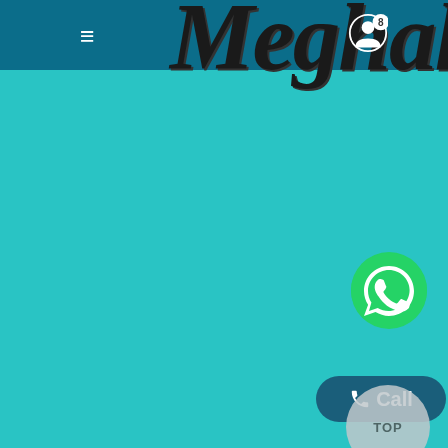[Figure (screenshot): Mobile website screenshot showing a teal/cyan background with a dark teal navigation bar at top, a cursive brand name 'Meghalaya' in large black italic script, hamburger menu icon, profile icon with badge showing '8', a green WhatsApp floating button, a dark teal 'Call' button with phone icon, and a gray 'TOP' scroll-to-top button in the lower right.]